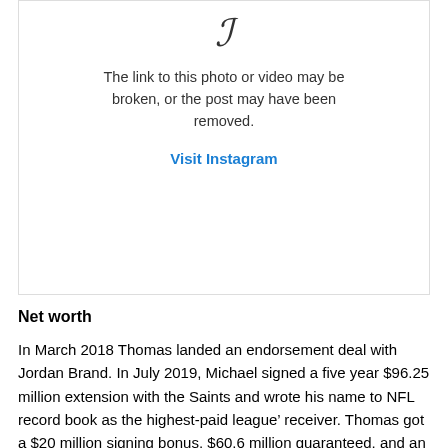[Figure (screenshot): Instagram broken link placeholder box showing an italic script icon, a message about broken link or removed post, and a 'Visit Instagram' link in blue]
Net worth
In March 2018 Thomas landed an endorsement deal with Jordan Brand. In July 2019, Michael signed a five year $96.25 million extension with the Saints and wrote his name to NFL record book as the highest-paid league’ receiver. Thomas got a $20 million signing bonus, $60.6 million guaranteed, and an